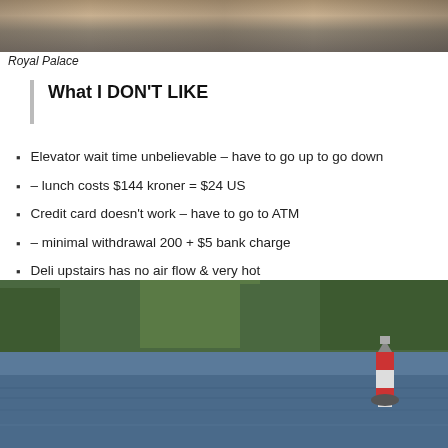[Figure (photo): Top partial photo of Royal Palace shoreline/water area, cropped at top of page]
Royal Palace
What I DON'T LIKE
Elevator wait time unbelievable – have to go up to go down
– lunch costs $144 kroner = $24 US
Credit card doesn't work – have to go to ATM
– minimal withdrawal 200 + $5 bank charge
Deli upstairs has no air flow & very hot
2:00 am – 1st time I felt any movement from rough seas in middle of night
[Figure (photo): Photo of a coastal scene with forested rocky island and a red-and-white striped lighthouse buoy in blue water]